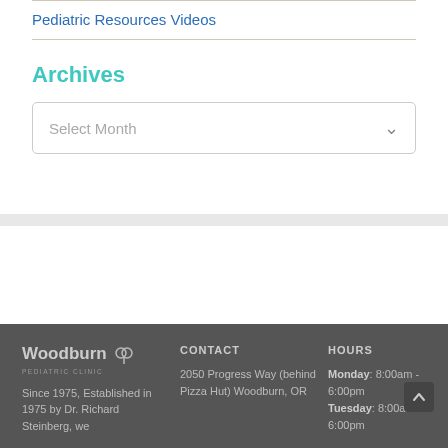Pediatric Resources Videos
Archives
Select Month
Woodburn Pediatric Clinic | CONTACT: 2050 Progress Way (behind Pizza Hut) Woodburn, OR | HOURS: Monday: 8:00am - 6:00pm, Tuesday: 8:00am - 6:00pm | Since 1975, Established in 1975 by Dr. Richard Steinberg, we